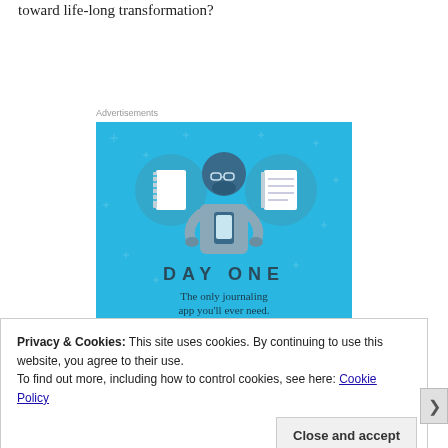toward life-long transformation?
[Figure (illustration): Day One journaling app advertisement. Blue background with illustration of a person holding a phone, flanked by two circular icons (blank notebook and lined notebook). Text reads 'DAY ONE – The only journaling app you'll ever need.']
Privacy & Cookies: This site uses cookies. By continuing to use this website, you agree to their use.
To find out more, including how to control cookies, see here: Cookie Policy
Close and accept